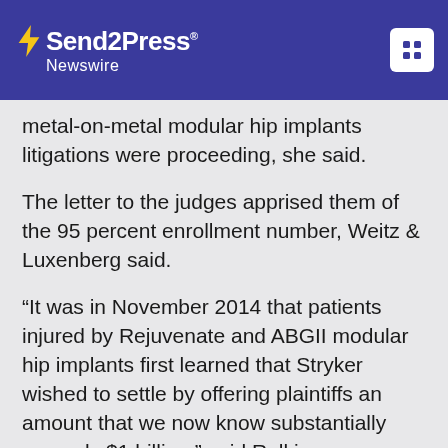Send2Press Newswire
metal-on-metal modular hip implants litigations were proceeding, she said.
The letter to the judges apprised them of the 95 percent enrollment number, Weitz & Luxenberg said.
“It was in November 2014 that patients injured by Rejuvenate and ABGII modular hip implants first learned that Stryker wished to settle by offering plaintiffs an amount that we now know substantially exceeds $1 billion,” said Relkin.